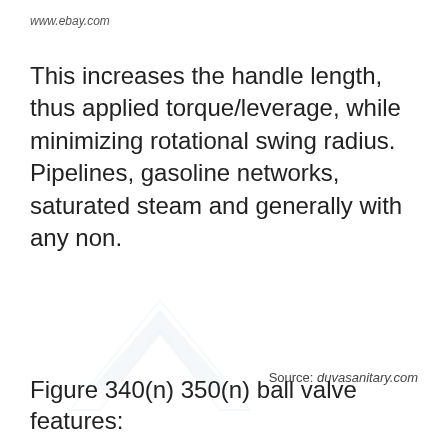www.ebay.com
This increases the handle length, thus applied torque/leverage, while minimizing rotational swing radius. Pipelines, gasoline networks, saturated steam and generally with any non.
[Figure (other): Faint watermark or logo shape in light blue/grey, resembling a chevron or arrow-like symbol]
Source: duvasanitary.com
Figure 340(n) 350(n) ball valve features: